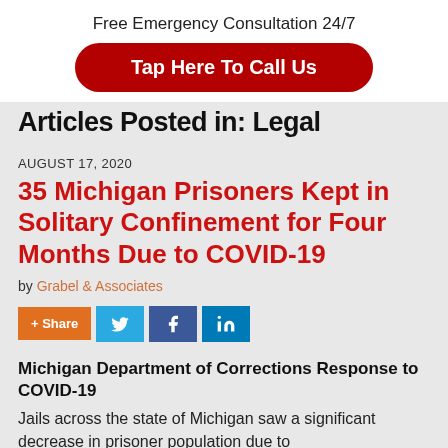Free Emergency Consultation 24/7
Tap Here To Call Us
Articles Posted in: Legal
AUGUST 17, 2020
35 Michigan Prisoners Kept in Solitary Confinement for Four Months Due to COVID-19
by Grabel & Associates
+ Share (Twitter, Facebook, LinkedIn)
Michigan Department of Corrections Response to COVID-19
Jails across the state of Michigan saw a significant decrease in prisoner population due to